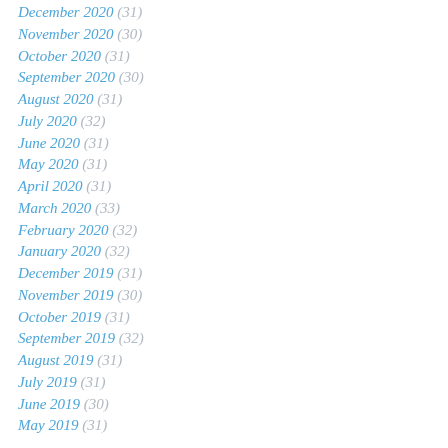December 2020 (31)
November 2020 (30)
October 2020 (31)
September 2020 (30)
August 2020 (31)
July 2020 (32)
June 2020 (31)
May 2020 (31)
April 2020 (31)
March 2020 (33)
February 2020 (32)
January 2020 (32)
December 2019 (31)
November 2019 (30)
October 2019 (31)
September 2019 (32)
August 2019 (31)
July 2019 (31)
June 2019 (30)
May 2019 (31)